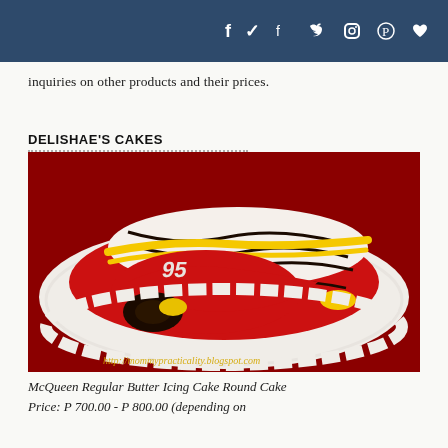Social media icons: f (Facebook), Twitter, Instagram, Pinterest, Heart
inquiries on other products and their prices.
DELISHAE'S CAKES
[Figure (photo): A decorated cake shaped like Lightning McQueen (Cars character) with red, white, yellow and dark chocolate icing on a red background. URL watermark: http://mommypracticality.blogspot.com]
McQueen Regular Butter Icing Cake Round Cake Price: P 700.00 - P 800.00 (depending on